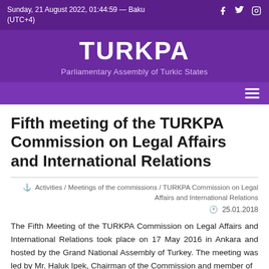Sunday, 21 August 2022, 01:44:59 — Baku (UTC+4)
TURKPA
Parliamentary Assembly of Turkic States
Fifth meeting of the TURKPA Commission on Legal Affairs and International Relations
Activities / Meetings of the commissions / TURKPA Commission on Legal Affairs and International Relations
25.01.2018
The Fifth Meeting of the TURKPA Commission on Legal Affairs and International Relations took place on 17 May 2016 in Ankara and hosted by the Grand National Assembly of Turkey. The meeting was led by Mr. Haluk Ipek, Chairman of the Commission and member of